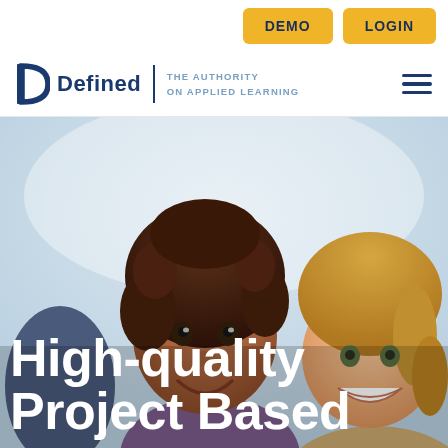[Figure (logo): Defined Learning logo with 'D' icon, company name 'Defined', vertical divider, and tagline 'THE AUTHORITY ON APPLIED LEARNING']
[Figure (photo): Two smiling children (a girl with curly dark hair and a girl with blonde hair) photographed outdoors with a light sky background]
High-quality Project Based